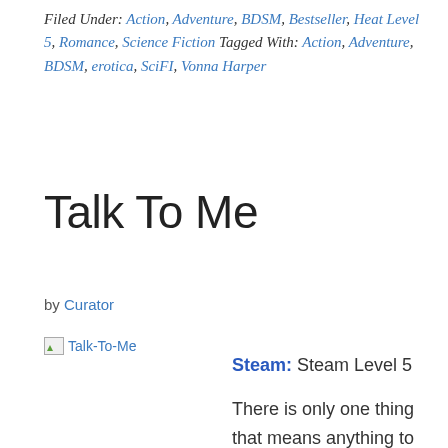Filed Under: Action, Adventure, BDSM, Bestseller, Heat Level 5, Romance, Science Fiction Tagged With: Action, Adventure, BDSM, erotica, SciFI, Vonna Harper
Talk To Me
by Curator
[Figure (photo): Broken image placeholder labeled Talk-To-Me]
Steam: Steam Level 5
There is only one thing that means anything to the reserved billionaire investor Victor Armstrong, and that is his friends. They helped him through